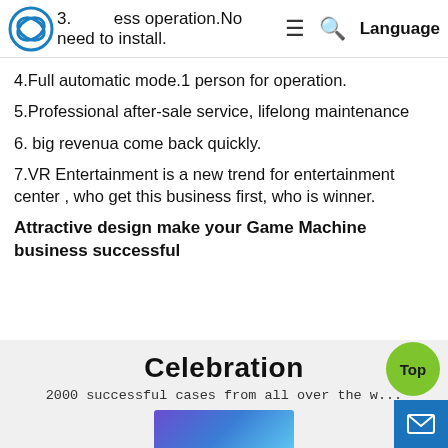3. ess operation.No need to install.  ≡  🔍  Language
4.Full automatic mode.1 person for operation.
5.Professional after-sale service, lifelong maintenance
6. big revenua come back quickly.
7.VR Entertainment is a new trend for entertainment center , who get this business first, who is winner.
Attractive design make your Game Machine business successful
[Figure (screenshot): Celebration banner with text '2000 successful cases from all over the world' and a product image, with green Top button and blue envelope button]